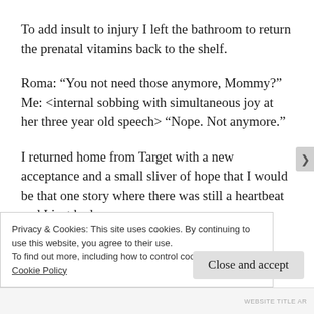To add insult to injury I left the bathroom to return the prenatal vitamins back to the shelf.
Roma: “You not need those anymore, Mommy?” Me: <internal sobbing with simultaneous joy at her three year old speech> “Nope. Not anymore.”
I returned home from Target with a new acceptance and a small sliver of hope that I would be that one story where there was still a heartbeat and I just had some
Privacy & Cookies: This site uses cookies. By continuing to use this website, you agree to their use.
To find out more, including how to control cookies, see here:
Cookie Policy
Close and accept
WEBSITE TITLE AR